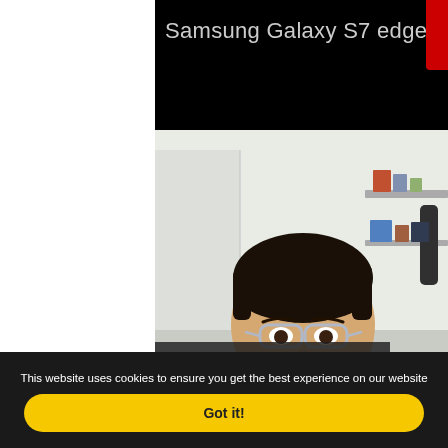[Figure (screenshot): Screenshot of a YouTube video embed showing a person (Asian man with glasses, wearing a teal/mint shirt) sitting in front of a room with shelves in the background. The top portion of the video has a black background with text 'Samsung Galaxy S7 edge >' in light gray. A red badge is partially visible in the top right corner. At the bottom of the video frame, a dark overlay shows 'Watch on YouTube' with the YouTube play button logo.]
This website uses cookies to ensure you get the best experience on our website
Got it!